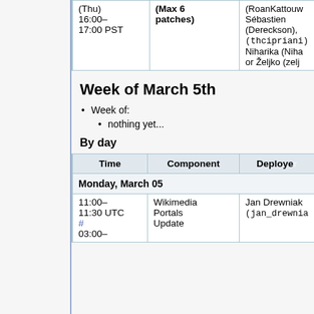| Time | Component | Deployer |
| --- | --- | --- |
| (Thu)
16:00–17:00 PST | (Max 6 patches) | (RoanKattouw...
Sébastien (Dereckson),
(thcipriani)...
Niharika (Niha...
or Željko (zelj... |
Week of March 5th
Week of:
nothing yet...
By day
| Time | Component | Deployer |
| --- | --- | --- |
| Monday, March 05 |  |  |
| 11:00–11:30 UTC
#
03:00– | Wikimedia Portals Update | Jan Drewniak (jan_drewnia... |